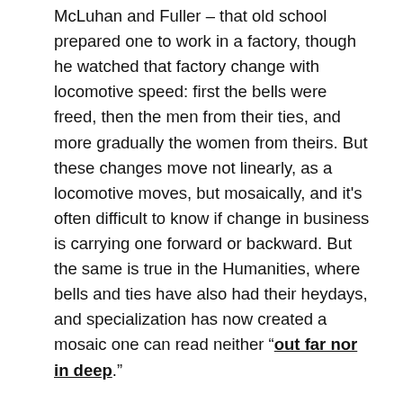McLuhan and Fuller – that old school prepared one to work in a factory, though he watched that factory change with locomotive speed: first the bells were freed, then the men from their ties, and more gradually the women from theirs. But these changes move not linearly, as a locomotive moves, but mosaically, and it's often difficult to know if change in business is carrying one forward or backward. But the same is true in the Humanities, where bells and ties have also had their heydays, and specialization has now created a mosaic one can read neither “out far nor in deep.”
And one also finds in the Humanities heavy doses of alienation, particularly in the bust phase of the current devaluing of the purpose of a liberal arts education as academic acculturation adulterates, through competitive forces at work in the market place, for schools are part of the commercial marketplace, as they are increasingly